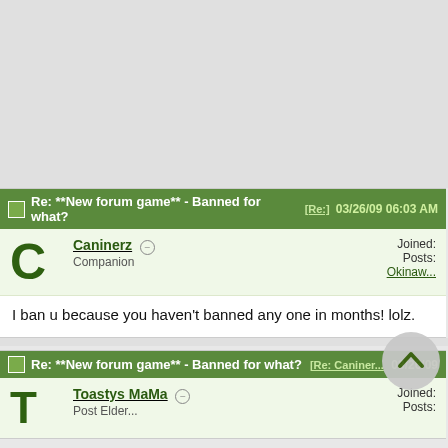[Figure (screenshot): Top gray area - cropped forum page area above posts]
Re: **New forum game** - Banned for what? [Re:] 03/26/09 06:03 AM
Caninerz - Companion
Joined:
Posts:
Okinaw...
I ban u because you haven't banned any one in months! lolz.
Re: **New forum game** - Banned for what? [Re: Caniner...] 03/26/09
Toastys MaMa
Joined:
Posts: